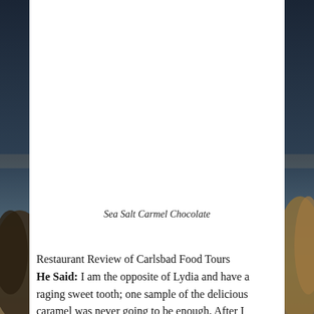[Figure (photo): Background coastal/ocean scene with dark blue sky and sandy/rocky shore visible on left and right sides of the white document overlay]
Sea Salt Carmel Chocolate
Restaurant Review of Carlsbad Food Tours He Said: I am the opposite of Lydia and have a raging sweet tooth; one sample of the delicious caramel was never going to be enough. After I inhaled mine, Cheri offered me hers. Safe to say